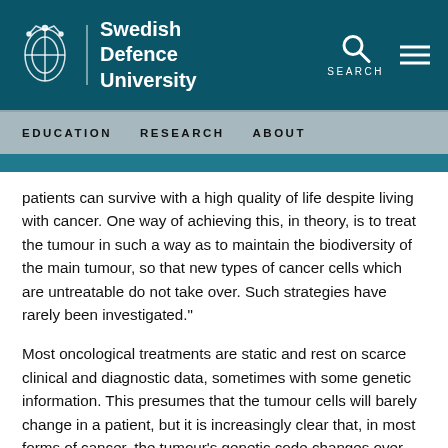Swedish Defence University
patients can survive with a high quality of life despite living with cancer. One way of achieving this, in theory, is to treat the tumour in such a way as to maintain the biodiversity of the main tumour, so that new types of cancer cells which are untreatable do not take over. Such strategies have rarely been investigated."
Most oncological treatments are static and rest on scarce clinical and diagnostic data, sometimes with some genetic information. This presumes that the tumour cells will barely change in a patient, but it is increasingly clear that, in most forms of cancer, the tumour's genetic code changes over time.